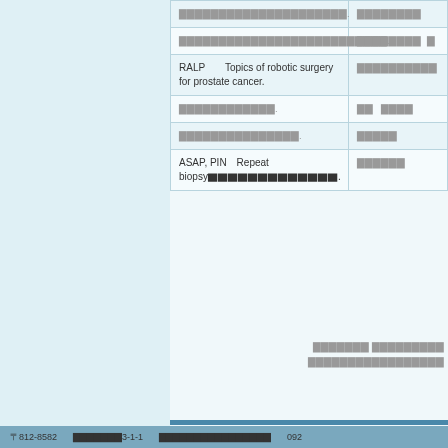| Topic | Details |
| --- | --- |
| [redacted text]. | [redacted] |
| [redacted text]. | [redacted]   [redacted] |
| RALP　　Topics of robotic surgery for prostate cancer. | [redacted] |
| [redacted text]. | [redacted]   [redacted] |
| [redacted text]. | [redacted] |
| ASAP, PIN　Repeat biopsy[redacted][redacted]. | [redacted] |
[redacted footer info line 1]
[redacted footer info line 2]
〒812-8582　[redacted]3-1-1　[redacted]　092